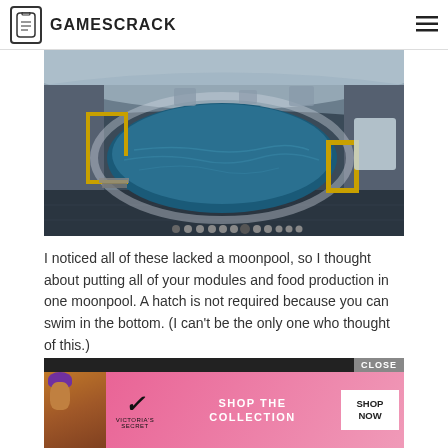GAMESCRACK
[Figure (screenshot): In-game screenshot showing a moonpool area with blue water, yellow railings, white curved walls, and navigation dots at the bottom]
I noticed all of these lacked a moonpool, so I thought about putting all of your modules and food production in one moonpool. A hatch is not required because you can swim in the bottom. (I can't be the only one who thought of this.)
[Figure (photo): Victoria's Secret advertisement banner with 'SHOP THE COLLECTION' and 'SHOP NOW' button. Shows a woman with purple hair and a CLOSE button.]